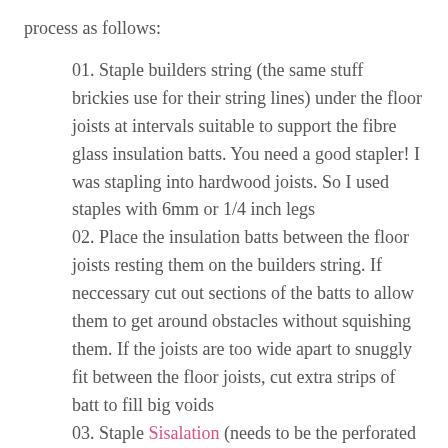process as follows:
01. Staple builders string (the same stuff brickies use for their string lines) under the floor joists at intervals suitable to support the fibre glass insulation batts. You need a good stapler! I was stapling into hardwood joists. So I used staples with 6mm or 1/4 inch legs
02. Place the insulation batts between the floor joists resting them on the builders string. If neccessary cut out sections of the batts to allow them to get around obstacles without squishing them. If the joists are too wide apart to snuggly fit between the floor joists, cut extra strips of batt to fill big voids
03. Staple Sisalation (needs to be the perforated stuff that allows water vapour through it) to the